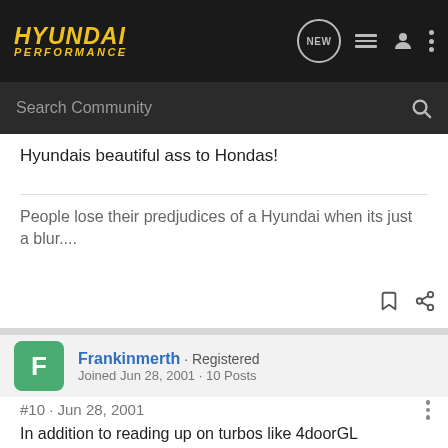HYUNDAI PERFORMANCE — navigation bar with search
Hyundais beautiful ass to Hondas!
People lose their predjudices of a Hyundai when its just a blur....
Frankinmerth · Registered
Joined Jun 28, 2001 · 10 Posts
#10 · Jun 28, 2001
In addition to reading up on turbos like 4doorGL mentioned (the link he posted kicks) you can follow some of the existing turbo projects for a while.